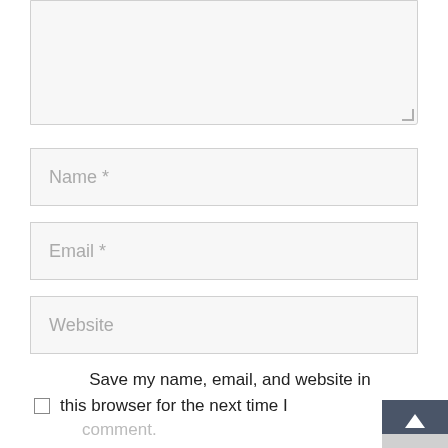[Figure (screenshot): Textarea input field (comment box), partially visible, light gray background with resize handle at bottom-right corner]
Name *
Email *
Website
Save my name, email, and website in this browser for the next time I comment.
[Figure (screenshot): Dark blue scroll-to-top button with upward arrow, partially overlapping the checkbox area, with a light gray lower half]